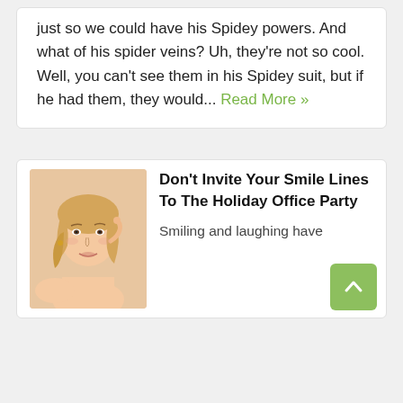just so we could have his Spidey powers. And what of his spider veins? Uh, they're not so cool. Well, you can't see them in his Spidey suit, but if he had them, they would... Read More »
[Figure (photo): Woman with blonde hair touching her face near her eye, against a peach/beige background]
Don't Invite Your Smile Lines To The Holiday Office Party
Smiling and laughing have